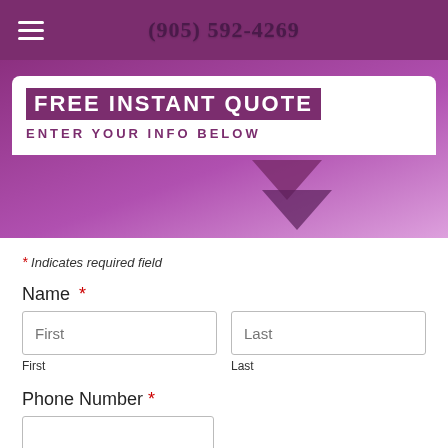(905) 592-4269
[Figure (infographic): FREE INSTANT QUOTE banner with purple background and white speech bubble shape, text reads FREE INSTANT QUOTE and ENTER YOUR INFO BELOW with a purple chevron/arrow icon]
* Indicates required field
Name *
First
Last
Phone Number *